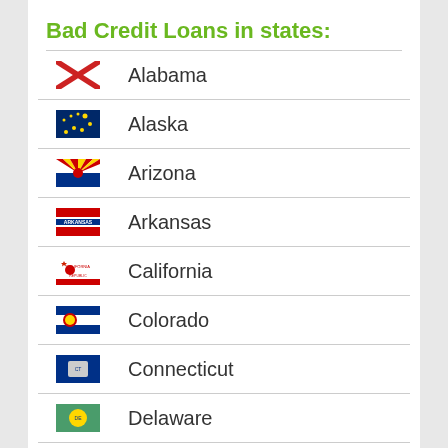Bad Credit Loans in states:
Alabama
Alaska
Arizona
Arkansas
California
Colorado
Connecticut
Delaware
Florida
Georgia
Hawaii
Idaho